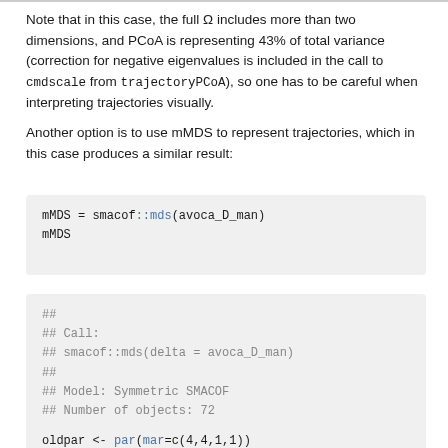Note that in this case, the full Ω includes more than two dimensions, and PCoA is representing 43% of total variance (correction for negative eigenvalues is included in the call to cmdscale from trajectoryPCoA), so one has to be careful when interpreting trajectories visually.
Another option is to use mMDS to represent trajectories, which in this case produces a similar result:
mMDS = smacof::mds(avoca_D_man)
mMDS
##
## Call:
## smacof::mds(delta = avoca_D_man)
##
## Model: Symmetric SMACOF
## Number of objects: 72
## Stress-1 value: 0.114
## Number of iterations: 49
oldpar  <- par(mar=c(4,4,1,1))